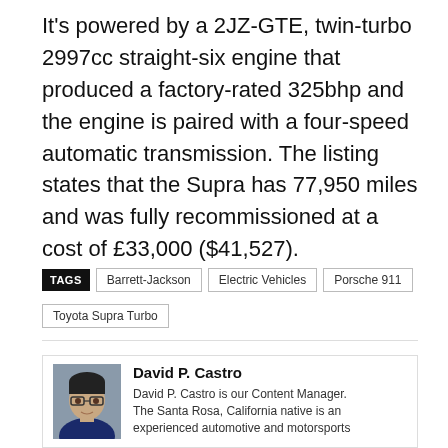It's powered by a 2JZ-GTE, twin-turbo 2997cc straight-six engine that produced a factory-rated 325bhp and the engine is paired with a four-speed automatic transmission. The listing states that the Supra has 77,950 miles and was fully recommissioned at a cost of £33,000 ($41,527).
TAGS: Barrett-Jackson, Electric Vehicles, Porsche 911, Toyota Supra Turbo
[Figure (photo): Headshot photo of David P. Castro, a man with dark hair and glasses wearing a dark blue polo shirt, against a grey background.]
David P. Castro
David P. Castro is our Content Manager. The Santa Rosa, California native is an experienced automotive and motorsports